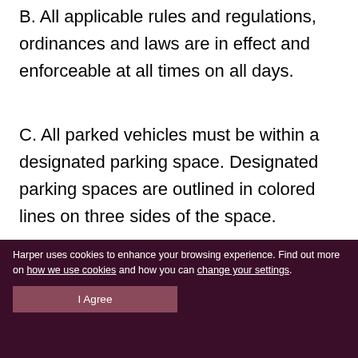B. All applicable rules and regulations, ordinances and laws are in effect and enforceable at all times on all days.
C. All parked vehicles must be within a designated parking space. Designated parking spaces are outlined in colored lines on three sides of the space.
Parking Rules and Regulations
Harper uses cookies to enhance your browsing experience. Find out more on how we use cookies and how you can change your settings.
I Agree
Parking
Evening Safety